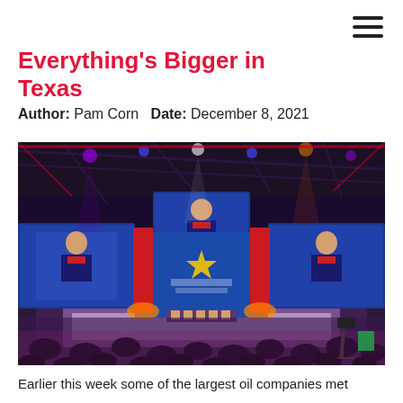Everything's Bigger in Texas
Author: Pam Corn   Date: December 8, 2021
[Figure (photo): Conference hall with large LED screens on stage showing a speaker, red and blue stage backdrop with a star logo, audience seated in dark arena.]
Earlier this week some of the largest oil companies met